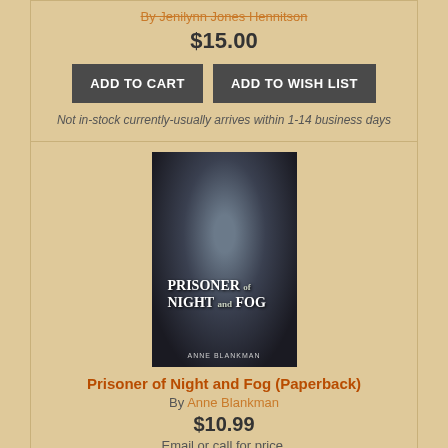By Jenilynn Jones Hennitson
$15.00
ADD TO CART
ADD TO WISH LIST
Not in-stock currently-usually arrives within 1-14 business days
[Figure (photo): Book cover for Prisoner of Night and Fog showing a close-up of a young woman's face in dark tones with the title text overlaid]
Prisoner of Night and Fog (Paperback)
By Anne Blankman
$10.99
Email or call for price.
[Figure (photo): Book cover for Promised Land showing an explosion and fire with dramatic sky]